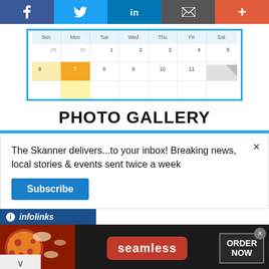[Figure (screenshot): Social media sharing bar with Facebook, Twitter, LinkedIn, email, and plus buttons]
[Figure (screenshot): Calendar widget showing a monthly view with dates Sun-Sat, with Monday highlighted in orange/yellow]
PHOTO GALLERY
The Skanner delivers...to your inbox! Breaking news, local stories & events sent twice a week
[Figure (screenshot): Subscribe button in blue]
[Figure (screenshot): infolinks bar logo]
[Figure (screenshot): Seamless food ordering advertisement with pizza image, seamless logo, ORDER NOW box]
[Figure (screenshot): Abogada Valentina Oronsaye legal advertisement with phone number 713-334-7200]